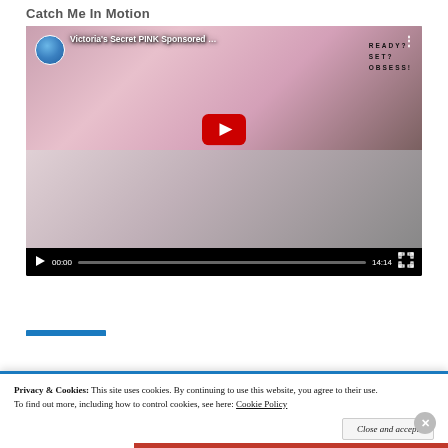Catch Me In Motion
[Figure (screenshot): YouTube video thumbnail and player for 'Victoria's Secret PINK Sponsored ...' showing a woman with pink boxes and PINK beauty products. Duration shown as 14:14. Player controls visible at bottom with play button, time 00:00, progress bar, and fullscreen icon.]
Privacy & Cookies: This site uses cookies. By continuing to use this website, you agree to their use.
To find out more, including how to control cookies, see here: Cookie Policy
Close and accept